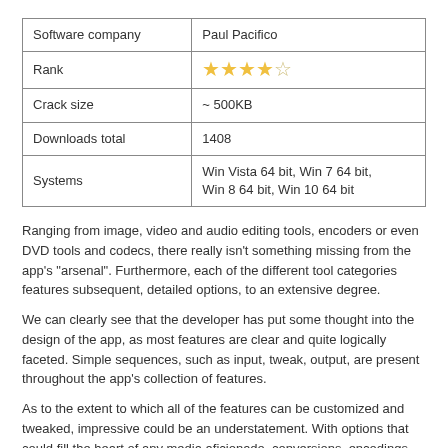| Software company | Paul Pacifico |
| --- | --- |
| Rank | ★★★★☆ |
| Crack size | ~ 500KB |
| Downloads total | 1408 |
| Systems | Win Vista 64 bit, Win 7 64 bit, Win 8 64 bit, Win 10 64 bit |
Ranging from image, video and audio editing tools, encoders or even DVD tools and codecs, there really isn't something missing from the app's "arsenal". Furthermore, each of the different tool categories features subsequent, detailed options, to an extensive degree.
We can clearly see that the developer has put some thought into the design of the app, as most features are clear and quite logically faceted. Simple sequences, such as input, tweak, output, are present throughout the app's collection of features.
As to the extent to which all of the features can be customized and tweaked, impressive could be an understatement. With options that could fill the heart of any media aficionado, conversions, encodings, video edits or audio operations can all be done in just a few clicks, efficiently, effortlessly.
This program offers a really consistent set of tools that are aimed at providing the means with which to handle and manipulate image, audio, and video content. Be it simple conversions or more complex, encodings or edits, Shutter Encoder Keygen features most of which